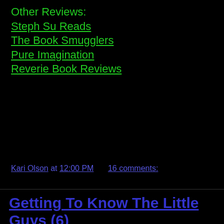Other Reviews:
Steph Su Reads
The Book Smugglers
Pure Imagination
Reverie Book Reviews
Kari Olson at 12:00 PM     16 comments:
Getting To Know The Little Guys (6)
Getting To Know The Little Guys is a feature I do weekly to spotlight small blogs with less than 100 followers. There is a huge crop of new blogs out there- mine being one of them but I have been lucky enough to gain a pretty quick following- but small doesn't mean bad. My goal is for my readers to read these weekly posts, get to know the bloggers a little more, and start finding some awesome new blogs that they might not have otherwise known about. And face it- there is a huge competitive edge to book blogging these